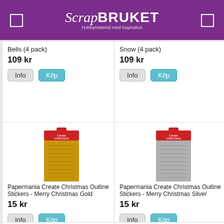ScrapBRUKET - Hobbymaterial med inspiration
Bells (4 pack)
109 kr
Info  Köp
Snow (4 pack)
109 kr
Info  Köp
[Figure (photo): Papermania Create Christmas Outline Stickers - Merry Christmas Gold product package, gold sticker sheet with red header]
Papermania Create Christmas Outline Stickers - Merry Christmas Gold
15 kr
Info  Köp
[Figure (photo): Papermania Create Christmas Outline Stickers - Merry Christmas Silver product package, silver sticker sheet with red header]
Papermania Create Christmas Outline Stickers - Merry Christmas Silver
15 kr
Info  Köp
[Figure (photo): Papermania Create Christmas product - gold, partially visible at bottom]
[Figure (photo): Papermania Create Christmas product - silver, partially visible at bottom]